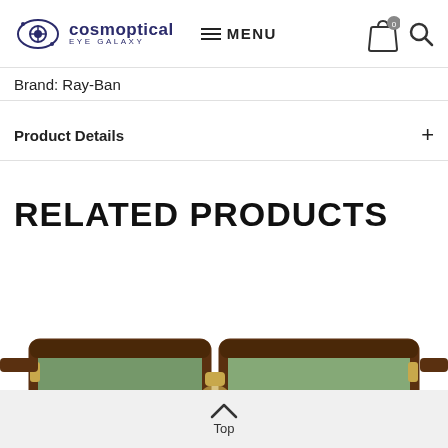cosmoptical EYE GALAXY | MENU
Brand: Ray-Ban
Product Details +
RELATED PRODUCTS
[Figure (photo): Ray-Ban Clubmaster style sunglasses with tortoiseshell frame, gold bridge and accents, and green mirrored lenses, shown against white background.]
Top